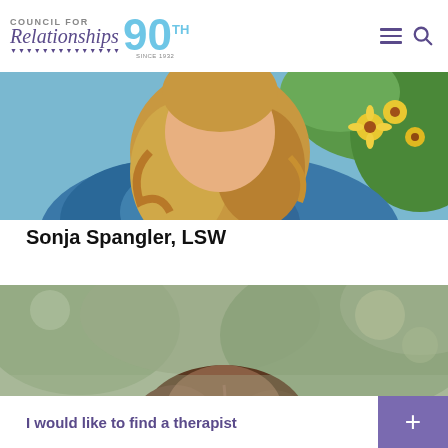[Figure (logo): Council for Relationships 90th Anniversary logo with blue '90' numeral and banner bunting]
[Figure (photo): Close-up photo of a woman with wavy blonde hair wearing a blue patterned shawl, with yellow flowers in the background]
Sonja Spangler, LSW
[Figure (photo): Photo of a woman with brown hair outdoors with blurred green foliage background]
I would like to find a therapist